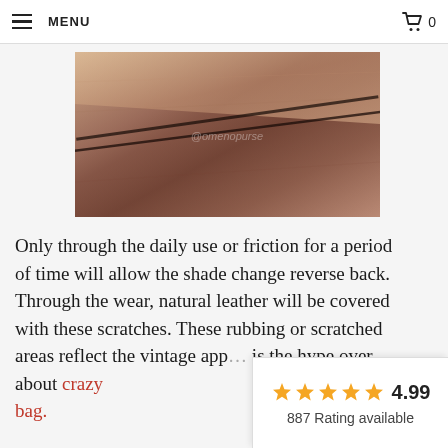MENU | 0
scratched and do not immediately reverse...
[Figure (photo): Close-up photo of brown/tan crazy horse leather surface showing texture, color variation and diagonal crease/seam, with watermark '@omenopurse']
Only through the daily use or friction for a period of time will allow the shade change reverse back. Through the wear, natural leather will be covered with these scratches. These rubbing or scratched areas reflect the vintage app[earance]. This is the hype over about crazy horse leather bag.